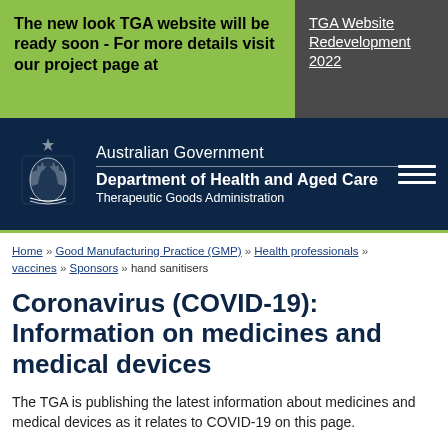The new look TGA website will be ready soon - For more details visit our project page at
TGA Website Redevelopment 2022
[Figure (logo): Australian Government coat of arms crest logo in white on dark navy background]
Australian Government
Department of Health and Aged Care
Therapeutic Goods Administration
Home » Good Manufacturing Practice (GMP) » Health professionals » vaccines » Sponsors » hand sanitisers
Coronavirus (COVID-19): Information on medicines and medical devices
The TGA is publishing the latest information about medicines and medical devices as it relates to COVID-19 on this page.